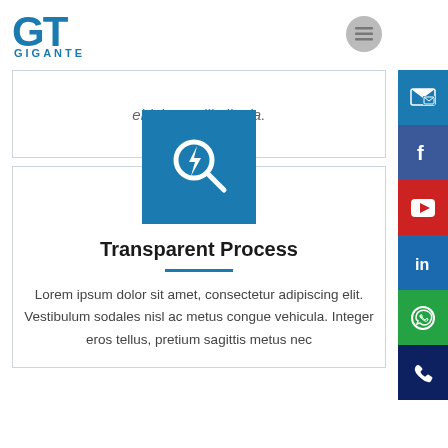GIGANTE
ehiclur mullis ligula.
[Figure (logo): Blue square icon with a lightning bolt magnifying glass symbol (Transparent Process icon)]
Transparent Process
Lorem ipsum dolor sit amet, consectetur adipiscing elit. Vestibulum sodales nisl ac metus congue vehicula. Integer eros tellus, pretium sagittis metus nec